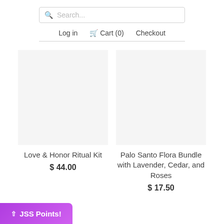Search...
Log in  Cart (0)  Checkout
Love & Honor Ritual Kit
$ 44.00
Palo Santo Flora Bundle with Lavender, Cedar, and Roses
$ 17.50
JSS Points!